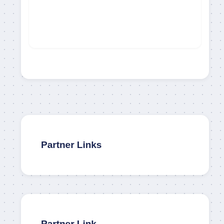[Figure (screenshot): UI card component at top, partially visible, with a white inner card element inside on a light blue-gray dotted background]
Partner Links
Partner Link
c041cac26dd0e59e9648299abcb93346f5261131